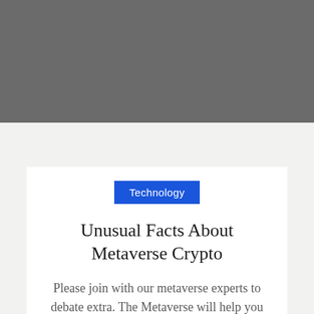[Figure (photo): Gray banner image area at the top of the page]
Technology
Unusual Facts About Metaverse Crypto
Please join with our metaverse experts to debate extra. The Metaverse will help you be